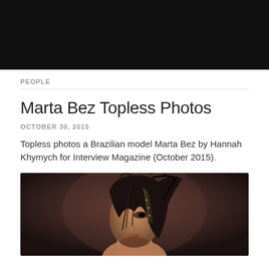[Figure (photo): Dark black navigation/header bar at top of webpage]
PEOPLE
Marta Bez Topless Photos
OCTOBER 30, 2015
Topless photos a Brazilian model Marta Bez by Hannah Khymych for Interview Magazine (October 2015).
[Figure (photo): Portrait photo of a dark-haired model (Marta Bez) with hair partially covering her face, shot against a dark brown/maroon background, professional fashion photography style]